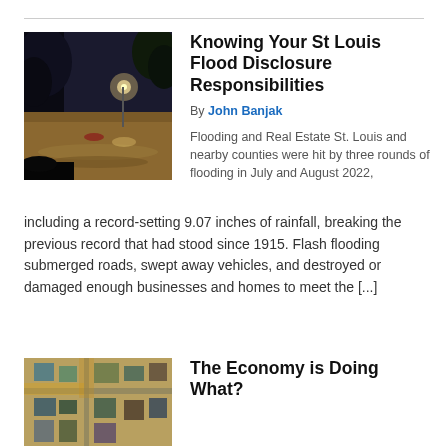[Figure (photo): Night flood scene with trees and street light reflected in floodwater, dark sky]
Knowing Your St Louis Flood Disclosure Responsibilities
By John Banjak
Flooding and Real Estate St. Louis and nearby counties were hit by three rounds of flooding in July and August 2022, including a record-setting 9.07 inches of rainfall, breaking the previous record that had stood since 1915. Flash flooding submerged roads, swept away vehicles, and destroyed or damaged enough businesses and homes to meet the [...]
[Figure (photo): Aerial view of houses and buildings, possibly showing flood or disaster damage, yellow and teal tones]
The Economy is Doing What?